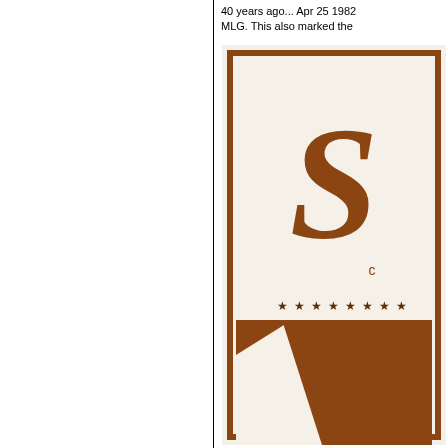40 years ago... Apr 25 1982 MLG. This also marked the
[Figure (photo): Partial view of a vintage brown and cream shield/logo design with a large letter S at the top, decorative stars in the middle section, and geometric brown shapes below. The design appears to be a sports or organization emblem from 1982.]